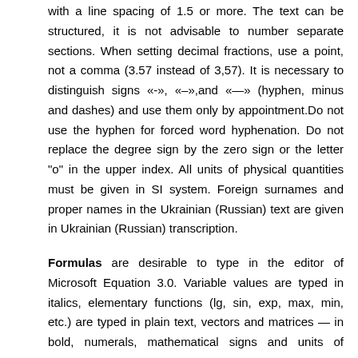with a line spacing of 1.5 or more. The text can be structured, it is not advisable to number separate sections. When setting decimal fractions, use a point, not a comma (3.57 instead of 3,57). It is necessary to distinguish signs «-», «–»,and «—» (hyphen, minus and dashes) and use them only by appointment.Do not use the hyphen for forced word hyphenation. Do not replace the degree sign by the zero sign or the letter "o" in the upper index. All units of physical quantities must be given in SI system. Foreign surnames and proper names in the Ukrainian (Russian) text are given in Ukrainian (Russian) transcription.
Formulas are desirable to type in the editor of Microsoft Equation 3.0. Variable values are typed in italics, elementary functions (lg, sin, exp, max, min, etc.) are typed in plain text, vectors and matrices — in bold, numerals, mathematical signs and units of measure —